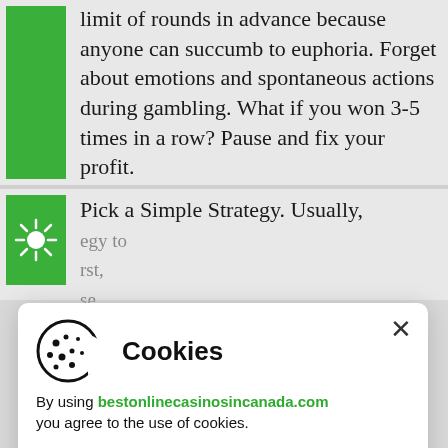limit of rounds in advance because anyone can succumb to euphoria. Forget about emotions and spontaneous actions during gambling. What if you won 3-5 times in a row? Pause and fix your profit.
Pick a Simple Strategy. Usually, [strategy to] [first,] [se] [d fold.] [ut] [set of] [e] [nd] [u will]
[Figure (screenshot): Cookie consent modal dialog with cookie icon, 'Cookies' title, close X button, text 'By using bestonlinecasinosincanada.com you agree to the use of cookies.', 'info' link, and green 'OK' button.]